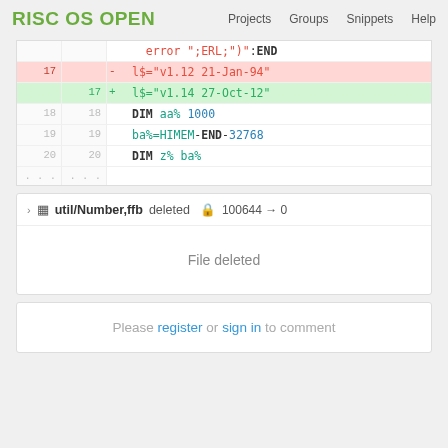RISC OS OPEN | Projects | Groups | Snippets | Help
[Figure (screenshot): Code diff showing lines 17-20 with line 17 removed (l$="v1.12 21-Jan-94") and added (l$="v1.14 27-Oct-12"), plus context lines 18-20 with DIM aa% 1000, ba%=HIMEM-END-32768, DIM z% ba%]
util/Number,ffb deleted 100644 → 0
File deleted
Please register or sign in to comment